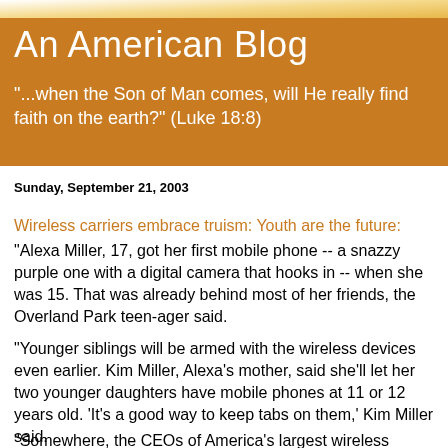An American Blog
"...when the Son of Man comes, will He really find faith on the earth?" (Luke 18:8)
Sunday, September 21, 2003
Wireless carriers embrace truism: Youth are the future:
"Alexa Miller, 17, got her first mobile phone -- a snazzy purple one with a digital camera that hooks in -- when she was 15. That was already behind most of her friends, the Overland Park teen-ager said.
"Younger siblings will be armed with the wireless devices even earlier. Kim Miller, Alexa's mother, said she'll let her two younger daughters have mobile phones at 11 or 12 years old. 'It's a good way to keep tabs on them,' Kim Miller said.
"Somewhere, the CEOs of America's largest wireless